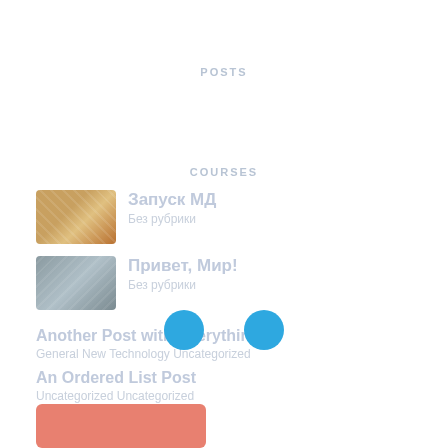POSTS
COURSES
Запуск МД
Без рубрики
Привет, Мир!
Без рубрики
Another Post with Everything
General New Technology Uncategorized
An Ordered List Post
Uncategorized Uncategorized
A Sample Text Post
Apple Student Uncategorized